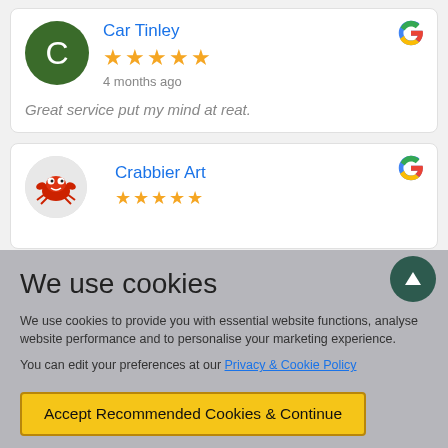Car Tinley — 5 stars — 4 months ago
Great service put my mind at reat.
Crabbier Art
We use cookies
We use cookies to provide you with essential website functions, analyse website performance and to personalise your marketing experience.
You can edit your preferences at our Privacy & Cookie Policy
Accept Recommended Cookies & Continue